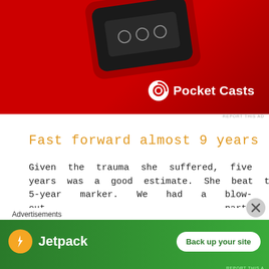[Figure (photo): Pocket Casts advertisement banner showing a red device on a red background with the Pocket Casts logo]
REPORT THIS AD
Fast forward almost 9 years
Given the trauma she suffered, five years was a good estimate. She beat the 5-year marker. We had a blow-out party to celebrate. We had our hairy moments along the way, but she made it through every one. We've made it 14 months now (knock on wood) without any real
Advertisements
[Figure (photo): Jetpack advertisement banner on green background with Back up your site button]